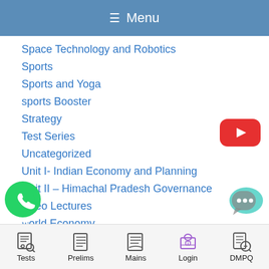☰ Menu
Space Technology and Robotics
Sports
Sports and Yoga
sports Booster
Strategy
Test Series
Uncategorized
Unit I- Indian Economy and Planning
Unit II – Himachal Pradesh Governance
video Lectures
world Economy
[Figure (logo): YouTube button - red rounded rectangle with white play triangle]
[Figure (logo): WhatsApp green circle icon with phone handset]
[Figure (logo): Chat bubble overlay icon]
Tests  Prelims  Mains  Login  DMPQ